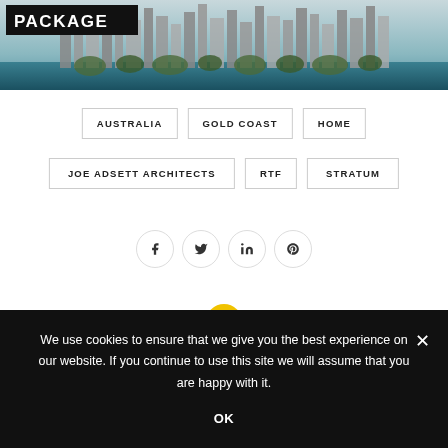[Figure (photo): Aerial cityscape image with skyscrapers along a waterfront, teal/blue water in foreground, with a black label overlay reading PACKAGE in white bold uppercase text.]
AUSTRALIA
GOLD COAST
HOME
JOE ADSETT ARCHITECTS
RTF
STRATUM
[Figure (infographic): Row of four social share icon buttons in circles: Facebook (f), Twitter (bird), LinkedIn (in), Pinterest (p)]
We use cookies to ensure that we give you the best experience on our website. If you continue to use this site we will assume that you are happy with it.
OK